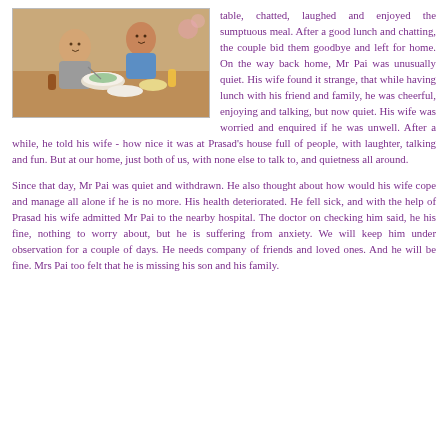[Figure (photo): Photo of people sitting at a dining table, eating together and smiling. Two adults visible with food and drinks on the table.]
table, chatted, laughed and enjoyed the sumptuous meal. After a good lunch and chatting, the couple bid them goodbye and left for home. On the way back home, Mr Pai was unusually quiet. His wife found it strange, that while having lunch with his friend and family, he was cheerful, enjoying and talking, but now quiet. His wife was worried and enquired if he was unwell. After a while, he told his wife - how nice it was at Prasad's house full of people, with laughter, talking and fun. But at our home, just both of us, with none else to talk to, and quietness all around.

Since that day, Mr Pai was quiet and withdrawn. He also thought about how would his wife cope and manage all alone if he is no more. His health deteriorated. He fell sick, and with the help of Prasad his wife admitted Mr Pai to the nearby hospital. The doctor on checking him said, he his fine, nothing to worry about, but he is suffering from anxiety. We will keep him under observation for a couple of days. He needs company of friends and loved ones. And he will be fine. Mrs Pai too felt that he is missing his son and his family.